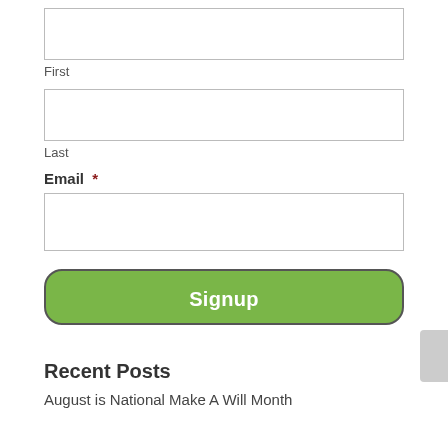First
Last
Email *
Signup
Recent Posts
August is National Make A Will Month